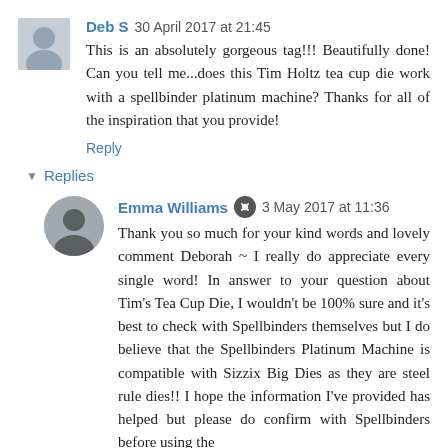Deb S  30 April 2017 at 21:45
This is an absolutely gorgeous tag!!! Beautifully done! Can you tell me...does this Tim Holtz tea cup die work with a spellbinder platinum machine? Thanks for all of the inspiration that you provide!
Reply
Replies
Emma Williams  3 May 2017 at 11:36
Thank you so much for your kind words and lovely comment Deborah ~ I really do appreciate every single word! In answer to your question about Tim's Tea Cup Die, I wouldn't be 100% sure and it's best to check with Spellbinders themselves but I do believe that the Spellbinders Platinum Machine is compatible with Sizzix Big Dies as they are steel rule dies!! I hope the information I've provided has helped but please do confirm with Spellbinders before using the